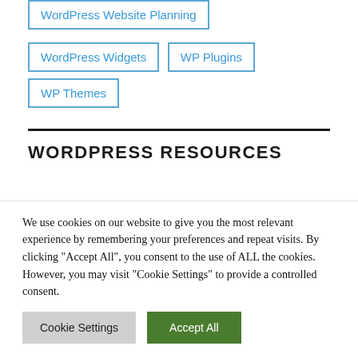WordPress Website Planning
WordPress Widgets
WP Plugins
WP Themes
WORDPRESS RESOURCES
We use cookies on our website to give you the most relevant experience by remembering your preferences and repeat visits. By clicking "Accept All", you consent to the use of ALL the cookies. However, you may visit "Cookie Settings" to provide a controlled consent.
Cookie Settings   Accept All